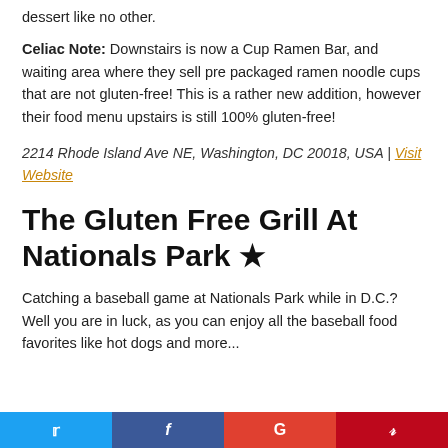dessert like no other.
Celiac Note: Downstairs is now a Cup Ramen Bar, and waiting area where they sell pre packaged ramen noodle cups that are not gluten-free! This is a rather new addition, however their food menu upstairs is still 100% gluten-free!
2214 Rhode Island Ave NE, Washington, DC 20018, USA | Visit Website
The Gluten Free Grill At Nationals Park ★
Catching a baseball game at Nationals Park while in D.C.?  Well you are in luck, as you can enjoy all the baseball food favorites like hot dogs and more, all gluten-free. At any of the...